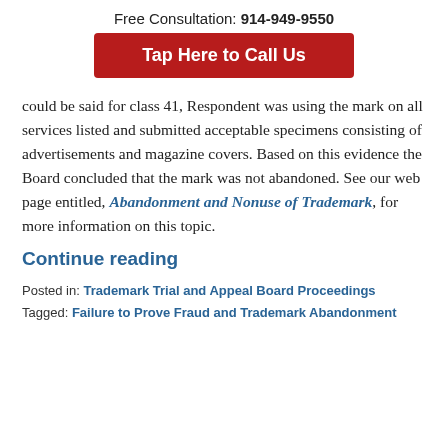Free Consultation: 914-949-9550
Tap Here to Call Us
could be said for class 41, Respondent was using the mark on all services listed and submitted acceptable specimens consisting of advertisements and magazine covers. Based on this evidence the Board concluded that the mark was not abandoned. See our web page entitled, Abandonment and Nonuse of Trademark, for more information on this topic.
Continue reading
Posted in: Trademark Trial and Appeal Board Proceedings
Tagged: Failure to Prove Fraud and Trademark Abandonment